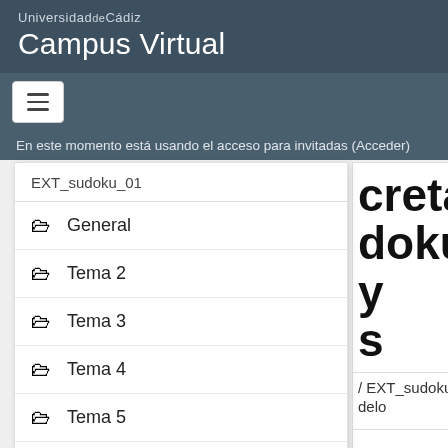UniversidaddeCádiz
Campus Virtual
En este momento está usando el acceso para invitadas (Acceder)
EXT_sudoku_01
General
Tema 2
Tema 3
Tema 4
Tema 5
Tema 6
creta: dokus y s
/ EXT_sudoku_01 delo